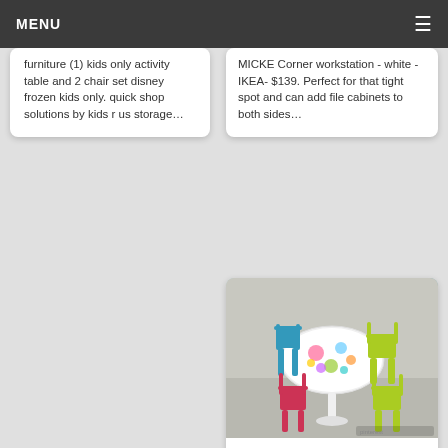MENU
furniture (1) kids only activity table and 2 chair set disney frozen kids only. quick shop solutions by kids r us storage…
MICKE Corner workstation - white - IKEA- $139. Perfect for that tight spot and can add file cabinets to both sides…
[Figure (photo): A round children's activity table with colorful patterned top and three painted wooden chairs in bright colors: teal/blue, red/pink, and yellow-green, set against a light floor.]
Wooden Childrens Table And Chairs
Love this bright and